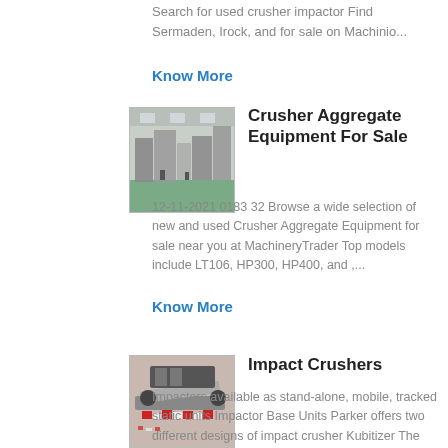Search for used crusher impactor Find Sermaden, Irock, and for sale on Machinio...
Know More
[Figure (photo): Industrial crusher aggregate equipment inside a factory facility]
Crusher Aggregate Equipment For Sale
12-11-2021 0183 32 Browse a wide selection of new and used Crusher Aggregate Equipment for sale near you at MachineryTrader Top models include LT106, HP300, HP400, and ,...
Know More
[Figure (photo): Impact crusher machinery with red and white components]
Impact Crushers
Impactors available as stand-alone, mobile, tracked static units Impactor Base Units Parker offers two different designs of impact crusher Kubitizer The Kubitizer is the genuine Parker fixed hammer